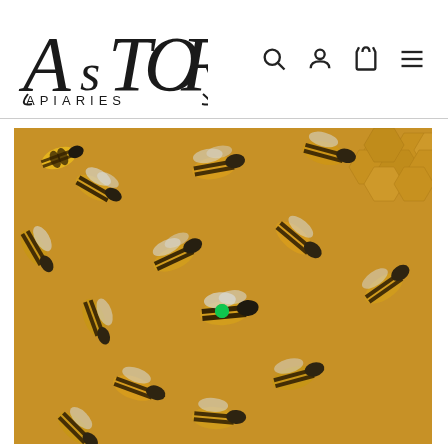[Figure (logo): Astor Apiaries logo — decorative serif/script lettering with 'ASTOR' large and 'APIARIES' smaller below]
[Figure (other): Navigation icons: search (magnifying glass), account (person silhouette), cart (shopping bag), menu (hamburger lines)]
[Figure (photo): Close-up photograph of honeybees on honeycomb. Many bees visible crawling on golden comb cells. One bee in the center has a green dot on its thorax, indicating it is a marked queen bee.]